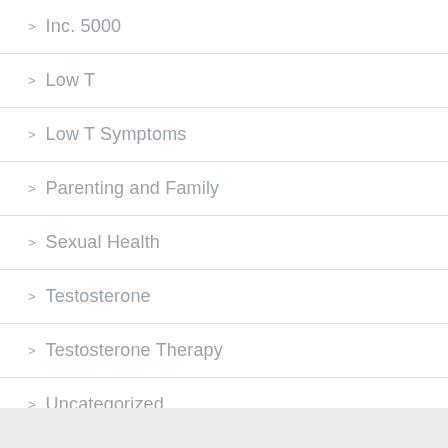Inc. 5000
Low T
Low T Symptoms
Parenting and Family
Sexual Health
Testosterone
Testosterone Therapy
Uncategorized